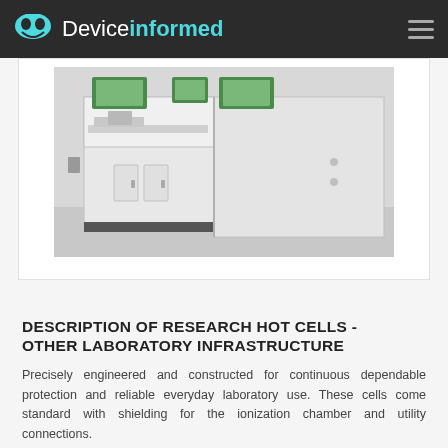Deviceinformed
[Figure (photo): Laboratory hot cell equipment — white modular cabinet and shielding unit in a clean laboratory environment with grey flooring and green-framed window slots at top.]
DESCRIPTION OF RESEARCH HOT CELLS - OTHER LABORATORY INFRASTRUCTURE
Precisely engineered and constructed for continuous dependable protection and reliable everyday laboratory use. These cells come standard with shielding for the ionization chamber and utility connections.